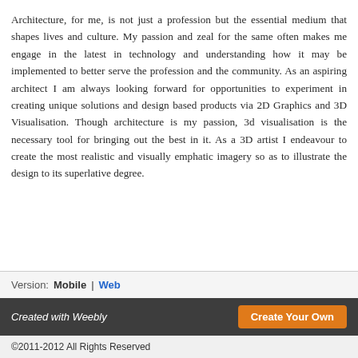Architecture, for me, is not just a profession but the essential medium that shapes lives and culture. My passion and zeal for the same often makes me engage in the latest in technology and understanding how it may be implemented to better serve the profession and the community. As an aspiring architect I am always looking forward for opportunities to experiment in creating unique solutions and design based products via 2D Graphics and 3D Visualisation. Though architecture is my passion, 3d visualisation is the necessary tool for bringing out the best in it. As a 3D artist I endeavour to create the most realistic and visually emphatic imagery so as to illustrate the design to its superlative degree.
Version: Mobile | Web
Created with Weebly  Create Your Own
©2011-2012 All Rights Reserved